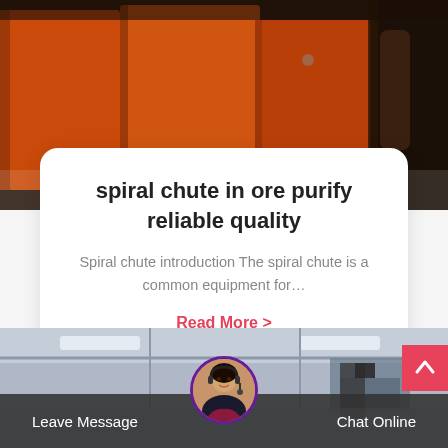[Figure (photo): Industrial orange machinery equipment, appears to be ore processing or mining equipment]
spiral chute in ore purify reliable quality
Spiral chute introduction The spiral chute is a common equipment for…
Read More >
[Figure (photo): Industrial warehouse or factory interior with tall ceilings and equipment]
Leave Message
Chat Online